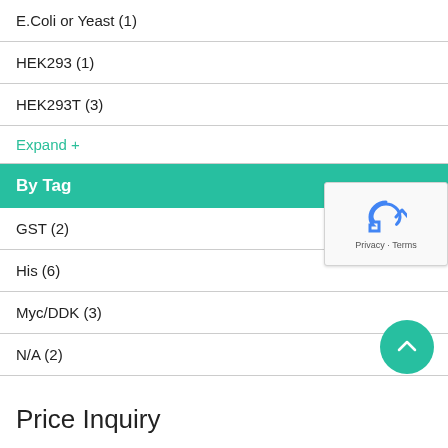E.Coli or Yeast (1)
HEK293 (1)
HEK293T (3)
Expand +
By Tag
GST (2)
His (6)
Myc/DDK (3)
N/A (2)
Price Inquiry